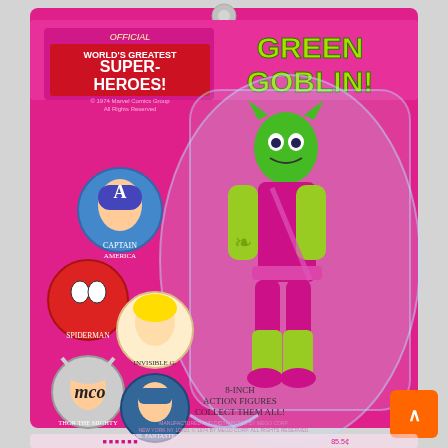[Figure (photo): A Mego 8-inch action figure toy on original blister card. The figure is Green Goblin in pink and yellow-green scale-patterned costume with green face mask. The bright pink card reads 'Official World's Greatest Super-Heroes!' at the top left with a red and white label, and 'GREEN GOBLIN!' in large yellow-green letters at the top right. The card features circular portraits of Captain America, Spider-Man, Invisible Girl, Thor The Mighty, and Mr. Fantastic. At the bottom: Mego logo, '8-INCH ACTION FIGURES - COLLECT THEM ALL!' text. The figure is sealed in a clear plastic blister. An orange button/arrow element appears in the bottom right corner.]